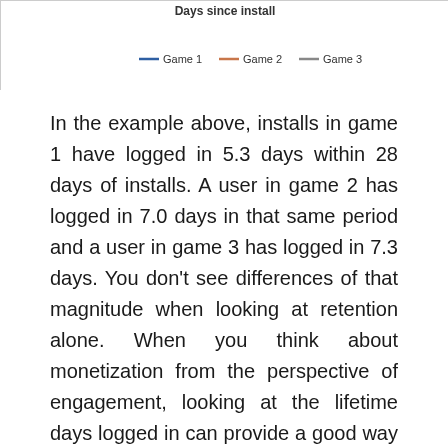[Figure (line-chart): Partial bottom of a line chart showing days since install for Game 1, Game 2, and Game 3, with a legend visible.]
In the example above, installs in game 1 have logged in 5.3 days within 28 days of installs. A user in game 2 has logged in 7.0 days in that same period and a user in game 3 has logged in 7.3 days. You don't see differences of that magnitude when looking at retention alone. When you think about monetization from the perspective of engagement, looking at the lifetime days logged in can provide a good way to estimate the potential revenue of a game. This would be especially the case for games that focus on monetizing off user activity via ads. Say you designed the game to ensure you get $0.01 in ad revenue for every day the user logs in. The